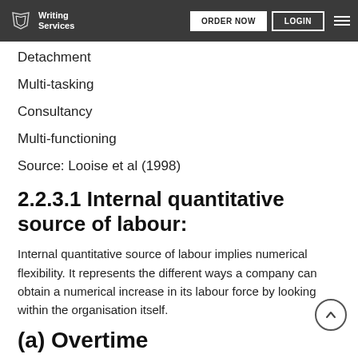Writing Services | ORDER NOW | LOGIN
Detachment
Multi-tasking
Consultancy
Multi-functioning
Source: Looise et al (1998)
2.2.3.1 Internal quantitative source of labour:
Internal quantitative source of labour implies numerical flexibility. It represents the different ways a company can obtain a numerical increase in its labour force by looking within the organisation itself.
(a) Overtime